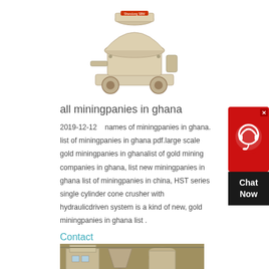[Figure (photo): Cone crusher machine, cream/white colored industrial mining equipment]
all miningpanies in ghana
2019-12-12    names of miningpanies in ghana. list of miningpanies in ghana pdf.large scale gold miningpanies in ghanalist of gold mining companies in ghana, list new miningpanies in ghana list of miningpanies in china, HST series single cylinder cone crusher with hydraulicdriven system is a kind of new, gold miningpanies in ghana list .
Contact
[Figure (photo): Industrial milling/grinding equipment inside a factory building, yellowish-cream colored machinery]
[Figure (illustration): Chat Now widget - red top with headset icon and X button, dark bottom with Chat Now text]